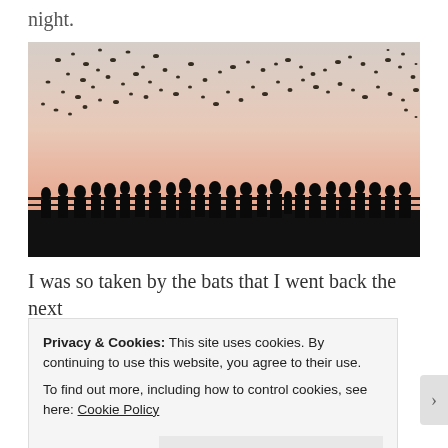night.
[Figure (photo): Silhouettes of a large crowd of people standing along a bridge railing watching a massive swarm of bats flying against a pink and cream dusk sky.]
I was so taken by the bats that I went back the next
evening and again the next. The sight soothed me
Privacy & Cookies: This site uses cookies. By continuing to use this website, you agree to their use.
To find out more, including how to control cookies, see here: Cookie Policy
Close and accept